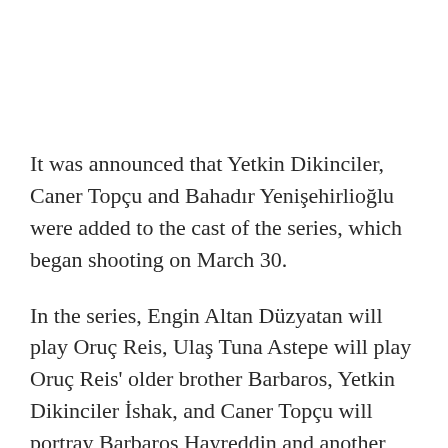It was announced that Yetkin Dikinciler, Caner Topçu and Bahadır Yenişehirlioğlu were added to the cast of the series, which began shooting on March 30.
In the series, Engin Altan Düzyatan will play Oruç Reis, Ulaş Tuna Astepe will play Oruç Reis' older brother Barbaros, Yetkin Dikinciler İshak, and Caner Topçu will portray Barbaros Hayreddin and another brother of Oruç Reis, İlyas. It has not been announced yet which